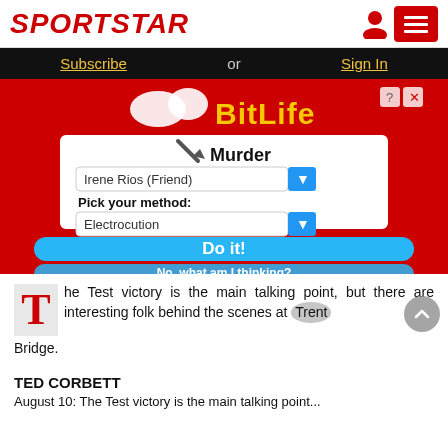SPORTSTAR
[Figure (screenshot): BitLife mobile game advertisement showing a 'Murder' dialog with 'Irene Rios (Friend)' selected, method 'Electrocution' selected, and buttons 'Do it!' and 'No, what am I thinking?' on a red background.]
The Test victory is the main talking point, but there are interesting folk behind the scenes at Trent Bridge.
TED CORBETT
August 10: The Test victory is the main talking point...